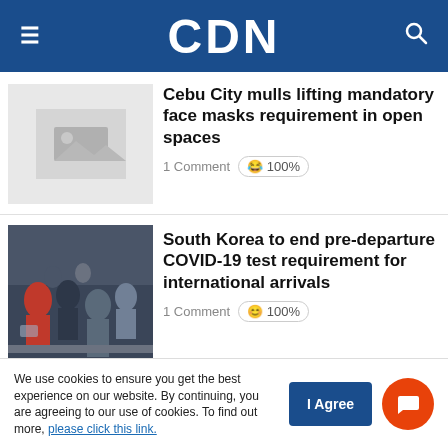CDN
Cebu City mulls lifting mandatory face masks requirement in open spaces
1 Comment 😂 100%
South Korea to end pre-departure COVID-19 test requirement for international arrivals
1 Comment 😊 100%
We use cookies to ensure you get the best experience on our website. By continuing, you are agreeing to our use of cookies. To find out more, please click this link.
I Agree